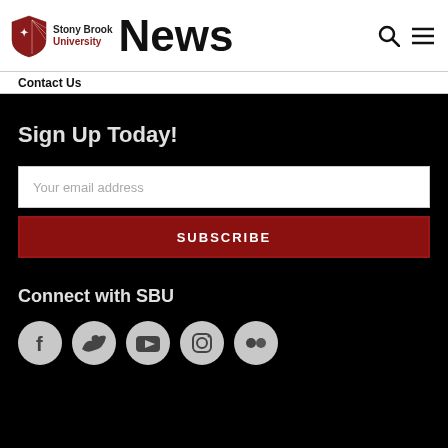[Figure (logo): Stony Brook University shield logo with text 'Stony Brook University' and large 'News' heading, plus search and menu icons in top navigation bar]
Contact Us
Sign Up Today!
Your email address
SUBSCRIBE
Connect with SBU
[Figure (illustration): Row of social media icon circles: Facebook, Twitter, YouTube, Instagram, Flickr]